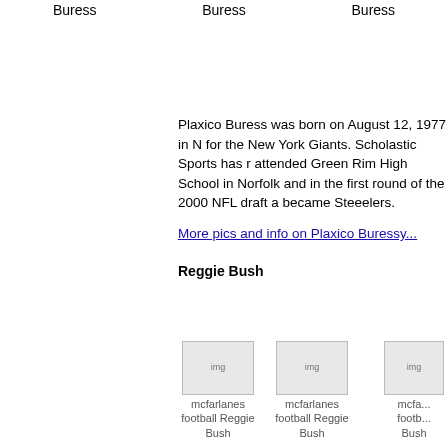Buress
Buress
Buress
Plaxico Buress was born on August 12, 1977 in N for the New York Giants. Scholastic Sports has r attended Green Rim High School in Norfolk and in the first round of the 2000 NFL draft a became Steeelers.
More pics and info on Plaxico Buressy...
Reggie Bush
[Figure (photo): mcfarlanes football Reggie Bush]
[Figure (photo): mcfarlanes football Reggie Bush]
[Figure (photo): mcfarlanes football Reggie Bush]